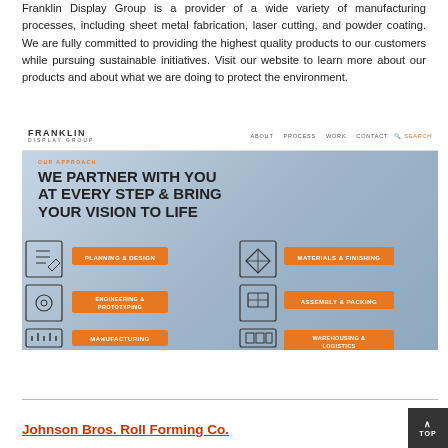Franklin Display Group is a provider of a wide variety of manufacturing processes, including sheet metal fabrication, laser cutting, and powder coating. We are fully committed to providing the highest quality products to our customers while pursuing sustainable initiatives. Visit our website to learn more about our products and about what we are doing to protect the environment.
[Figure (screenshot): Screenshot of Franklin Display Group website showing navigation bar with ABOUT, PROCESS, WORK, CONTACT, SEARCH links and a hero section with text 'OUR APPROACH - WE PARTNER WITH YOU AT EVERY STEP & BRING YOUR VISION TO LIFE' and a process infographic showing 6 steps: Planning & Design, Materials & Finishing, Engineering & Prototyping, Assembly & Packing, Manufacturing, Warehousing & Logistics]
Johnson Bros. Roll Forming Co.